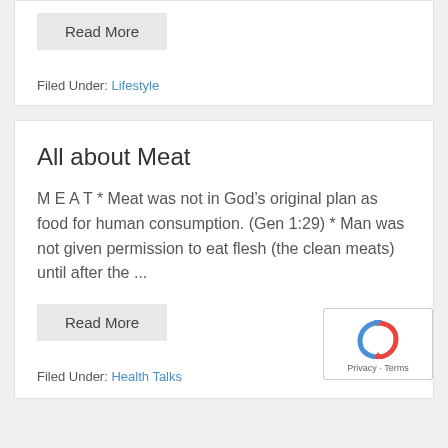Read More
Filed Under: Lifestyle
All about Meat
M E A T * Meat was not in God's original plan as food for human consumption. (Gen 1:29) * Man was not given permission to eat flesh (the clean meats) until after the ...
Read More
Filed Under: Health Talks